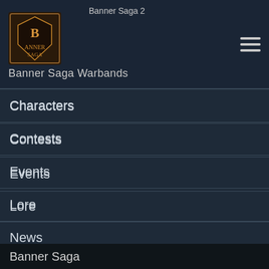Banner Saga 2 / Banner Saga Warbands
Characters
Contests
Events
Lore
News
Stoic
Uncategorized
Banner Saga